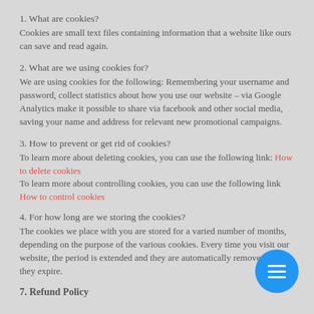1. What are cookies?
Cookies are small text files containing information that a website like ours can save and read again.
2. What are we using cookies for?
We are using cookies for the following: Remembering your username and password, collect statistics about how you use our website – via Google Analytics make it possible to share via facebook and other social media, saving your name and address for relevant new promotional campaigns.
3. How to prevent or get rid of cookies?
To learn more about deleting cookies, you can use the following link: How to delete cookies
To learn more about controlling cookies, you can use the following link How to control cookies
4. For how long are we storing the cookies?
The cookies we place with you are stored for a varied number of months, depending on the purpose of the various cookies. Every time you visit our website, the period is extended and they are automatically removed when they expire.
7. Refund Policy